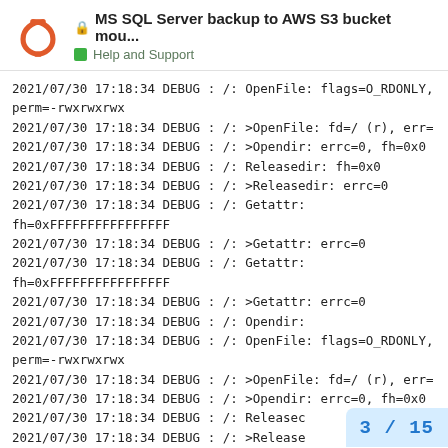MS SQL Server backup to AWS S3 bucket mou... | Help and Support
2021/07/30 17:18:34 DEBUG : /: OpenFile: flags=O_RDONLY, perm=-rwxrwxrwx
2021/07/30 17:18:34 DEBUG : /: >OpenFile: fd=/ (r), err=
2021/07/30 17:18:34 DEBUG : /: >Opendir: errc=0, fh=0x0
2021/07/30 17:18:34 DEBUG : /: Releasedir: fh=0x0
2021/07/30 17:18:34 DEBUG : /: >Releasedir: errc=0
2021/07/30 17:18:34 DEBUG : /: Getattr: fh=0xFFFFFFFFFFFFFFFF
2021/07/30 17:18:34 DEBUG : /: >Getattr: errc=0
2021/07/30 17:18:34 DEBUG : /: Getattr: fh=0xFFFFFFFFFFFFFFFF
2021/07/30 17:18:34 DEBUG : /: >Getattr: errc=0
2021/07/30 17:18:34 DEBUG : /: Opendir:
2021/07/30 17:18:34 DEBUG : /: OpenFile: flags=O_RDONLY, perm=-rwxrwxrwx
2021/07/30 17:18:34 DEBUG : /: >OpenFile: fd=/ (r), err=
2021/07/30 17:18:34 DEBUG : /: >Opendir: errc=0, fh=0x0
2021/07/30 17:18:34 DEBUG : /: Released...
2021/07/30 17:18:34 DEBUG : /: >Release...